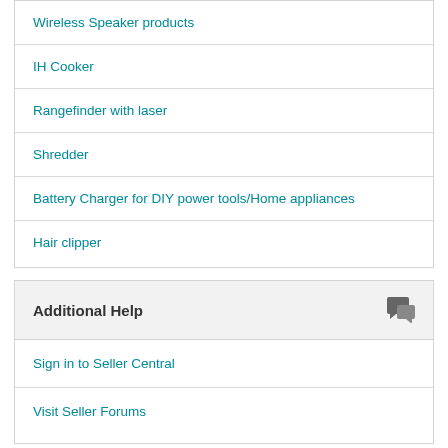Wireless Speaker products
IH Cooker
Rangefinder with laser
Shredder
Battery Charger for DIY power tools/Home appliances
Hair clipper
Additional Help
Sign in to Seller Central
Visit Seller Forums